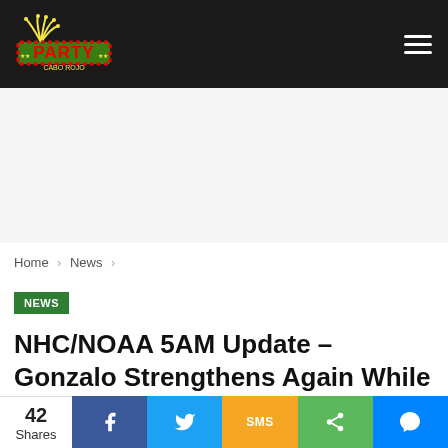PARTY [logo] | navigation menu
Home > News >
NEWS
NHC/NOAA 5AM Update – Gonzalo Strengthens Again While Still Heading Due West
At 500 AM AST (0900 UTC), the center of Tropical Storm Gonzalo was located near latitude 10.0 North
42 Shares | Facebook | Twitter | SMS | Share | Messenger